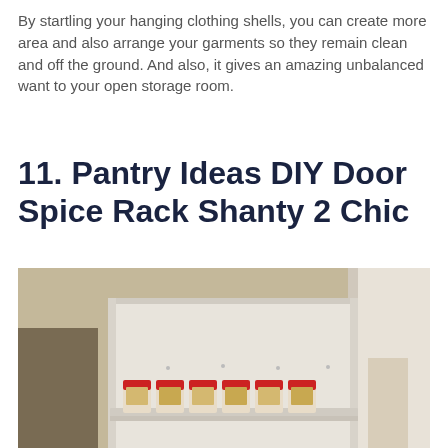By startling your hanging clothing shells, you can create more area and also arrange your garments so they remain clean and off the ground. And also, it gives an amazing unbalanced want to your open storage room.
11. Pantry Ideas DIY Door Spice Rack Shanty 2 Chic
[Figure (photo): A white DIY door-mounted spice rack with a row of spice jars with red lids on a wooden shelf, mounted inside a pantry door frame. The background shows a beige/tan wall and a white door frame on the right.]